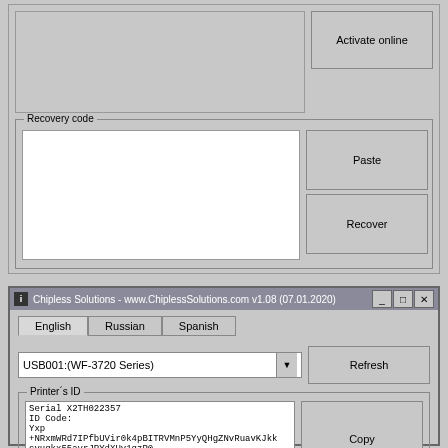[Figure (screenshot): Software activation dialog top section with large text area and Activate online button]
Recovery code
[Figure (screenshot): Recovery code group box with white textarea, Paste button, and Recover button]
[Figure (screenshot): Chipless Solutions www.ChiplessSolutions.com v1.08 (07.01.2020) window with English/Russian/Spanish tabs, USB001:(WF-3720 Series) dropdown, Refresh button, Printer's ID group with serial and ID code text, and Copy button]